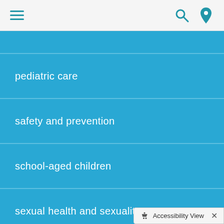Menu | Search | Location
pediatric care
safety and prevention
school-aged children
sexual health and sexuality
sports and fitness
Accessibility View